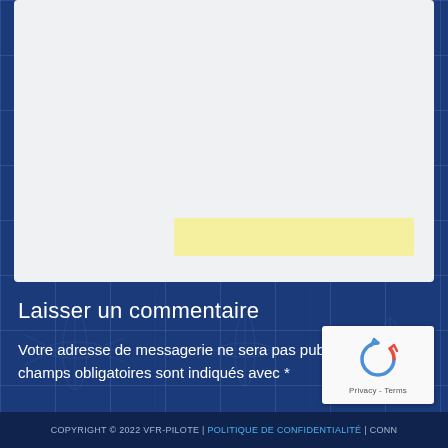[Figure (other): White/light gray card area with a light yellow bar at the bottom, part of a web form interface on a dark blue blueprint-style background with aircraft silhouette watermarks]
Laisser un commentaire
Votre adresse de messagerie ne sera pas publiée. Les champs obligatoires sont indiqués avec *
COPYRIGHT © 2022 VFR-PILOTE | POLITIQUE DE CONFIDENTIALITÉ | CONN...